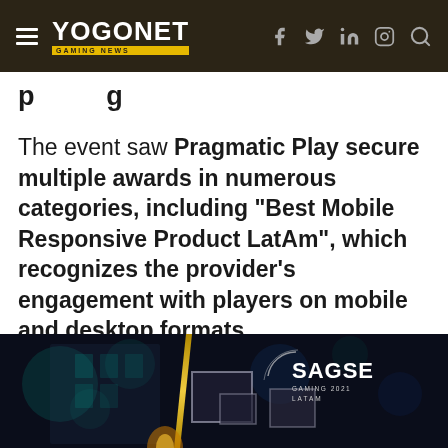YOGONET GAMING NEWS
...p...g...
The event saw Pragmatic Play secure multiple awards in numerous categories, including "Best Mobile Responsive Product LatAm", which recognizes the provider's engagement with players on mobile and desktop formats.
[Figure (photo): Dark-themed event photo showing a screen/display at what appears to be SAGSE Gaming 2021 LatAm. A gold diagonal line runs vertically. The SAGSE Gaming 2021 LatAm badge/logo is visible in the upper right of the image.]